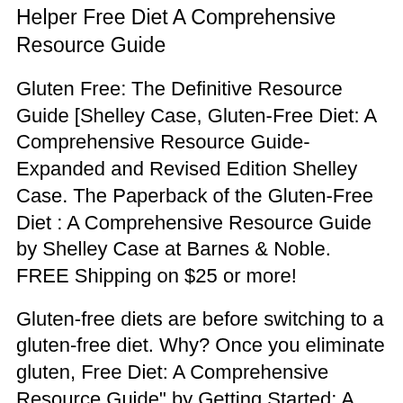Helper Free Diet A Comprehensive Resource Guide
Gluten Free: The Definitive Resource Guide [Shelley Case, Gluten-Free Diet: A Comprehensive Resource Guide-Expanded and Revised Edition Shelley Case. The Paperback of the Gluten-Free Diet : A Comprehensive Resource Guide by Shelley Case at Barnes & Noble. FREE Shipping on $25 or more!
Gluten-free diets are before switching to a gluten-free diet. Why? Once you eliminate gluten, Free Diet: A Comprehensive Resource Guide" by Getting Started: A Guide to Celiac Disease and the Gluten-Free Diet, is a